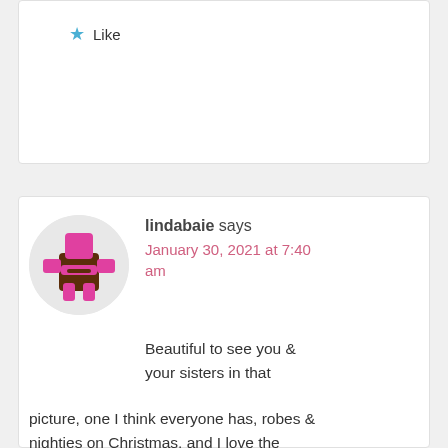Like
lindabaie says
January 30, 2021 at 7:40 am
Beautiful to see you & your sisters in that picture, one I think everyone has, robes & nighties on Christmas, and I love the “instant replay” among all the other words you included from your list. What fun to do a zoom together, then write! I need to look up my list! Thank you!